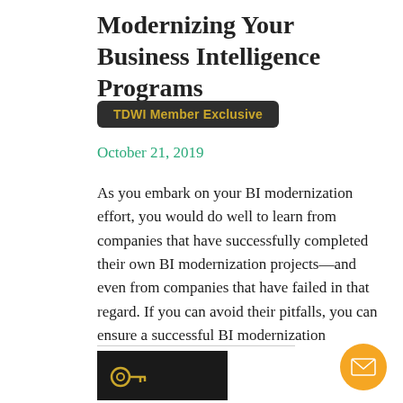Modernizing Your Business Intelligence Programs
TDWI Member Exclusive
October 21, 2019
As you embark on your BI modernization effort, you would do well to learn from companies that have successfully completed their own BI modernization projects—and even from companies that have failed in that regard. If you can avoid their pitfalls, you can ensure a successful BI modernization initiative.
[Figure (other): TDWI Member Exclusive badge/image with key icon on dark background]
[Figure (other): Orange circular email/contact button with envelope icon]